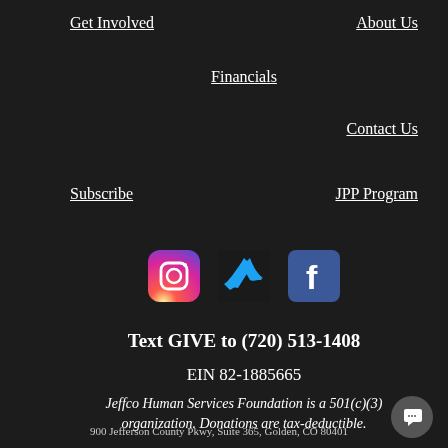Get Involved
About Us
Financials
Contact Us
Subscribe
JPP Program
[Figure (logo): Instagram, Twitter, and Facebook social media icons]
Text GIVE to (720) 513-1408
EIN 82-1885665
Jeffco Human Services Foundation is a 501(c)(3) organization. Donations are tax-deductible.
900 Jefferson County Pkwy, Suite 365, Golden, CO 80401